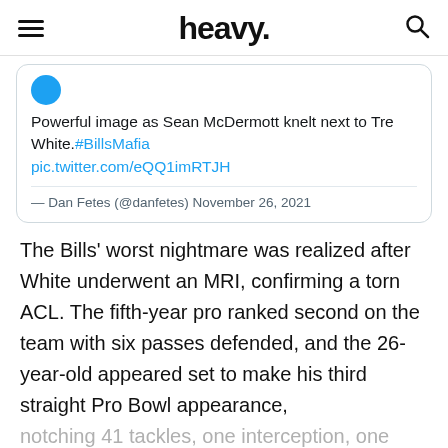heavy.
[Figure (screenshot): Embedded tweet card: 'Powerful image as Sean McDermott knelt next to Tre White.#BillsMafia pic.twitter.com/eQQ1imRTJH — Dan Fetes (@danfetes) November 26, 2021']
The Bills' worst nightmare was realized after White underwent an MRI, confirming a torn ACL. The fifth-year pro ranked second on the team with six passes defended, and the 26-year-old appeared set to make his third straight Pro Bowl appearance,
notching 41 tackles, one interception, one forced fumble, one fumble recovery, and half a sack